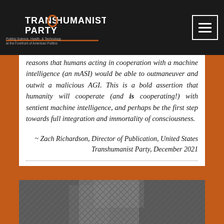TRANSHUMANIST PARTY – Putting Science, Health, & Technology at the Forefront of American Politics
reasons that humans acting in cooperation with a machine intelligence (an mASI) would be able to outmaneuver and outwit a malicious AGI. This is a bold assertion that humanity will cooperate (and is cooperating!) with sentient machine intelligence, and perhaps be the first step towards full integration and immortality of consciousness.
~ Zach Richardson, Director of Publication, United States Transhumanist Party, December 2021
[Figure (photo): Black and white photograph partially visible at the bottom of the page, appears to show a chain-link fence with blurred figures behind it.]